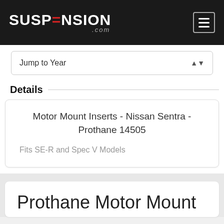[Figure (logo): Suspension.com logo in white on black header background]
Jump to Year
Details
Motor Mount Inserts - Nissan Sentra - Prothane 14505
Fits SE-R and Spec V Models
Prothane Motor Mount